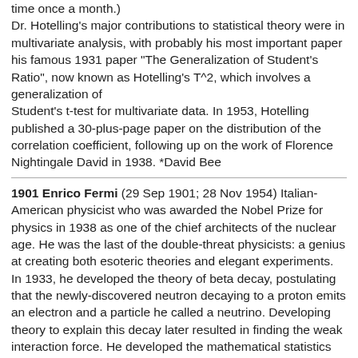time once a month.) Dr. Hotelling's major contributions to statistical theory were in multivariate analysis, with probably his most important paper his famous 1931 paper "The Generalization of Student's Ratio", now known as Hotelling's T^2, which involves a generalization of Student's t-test for multivariate data. In 1953, Hotelling published a 30-plus-page paper on the distribution of the correlation coefficient, following up on the work of Florence Nightingale David in 1938. *David Bee
1901 Enrico Fermi (29 Sep 1901; 28 Nov 1954) Italian-American physicist who was awarded the Nobel Prize for physics in 1938 as one of the chief architects of the nuclear age. He was the last of the double-threat physicists: a genius at creating both esoteric theories and elegant experiments. In 1933, he developed the theory of beta decay, postulating that the newly-discovered neutron decaying to a proton emits an electron and a particle he called a neutrino. Developing theory to explain this decay later resulted in finding the weak interaction force. He developed the mathematical statistics required to clarify a large class of subatomic phenomena, discovered neutron-induced radioactivity, and directed the